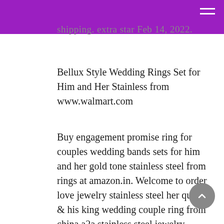shipping. extra star Feb 14, 2022.
Bellux Style Wedding Rings Set for Him and Her Stainless from www.walmart.com
Buy engagement promise ring for couples wedding bands sets for him and her gold tone stainless steel from rings at amazon.in. Welcome to order love jewelry stainless steel her queen & his king wedding couple ring from china a2a stainless steel jewelry factory. ♡ to prevent the color of your jewelry from fading.